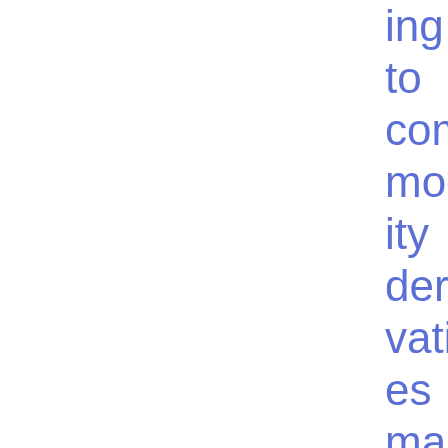ing to com mod ity deri vativ es mark ets or relat ed spot mark ets for the purp ose of the defi